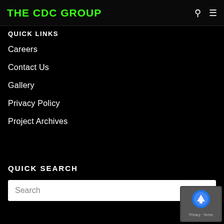THE CDC GROUP
QUICK LINKS
Careers
Contact Us
Gallery
Privacy Policy
Project Archives
QUICK SEARCH
Search